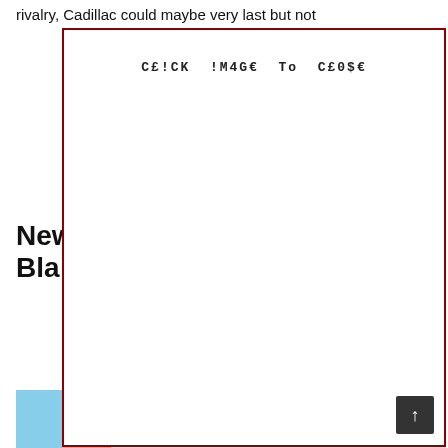rivalry, Cadillac could maybe very last but not
[Figure (other): Modal/lightbox overlay with dark red border covering most of the page, containing text 'CE!CK !M4GE TO CE0$E' (a stylized 'CLICK IMAGE TO CLOSE' message in monospace font)]
New
Bla
[Figure (photo): Partial photo of a red Cadillac car front/grille against a blue sky background]
rims. A
including
Braking
those
its riva
se
ls
back
es,
aster
of
han